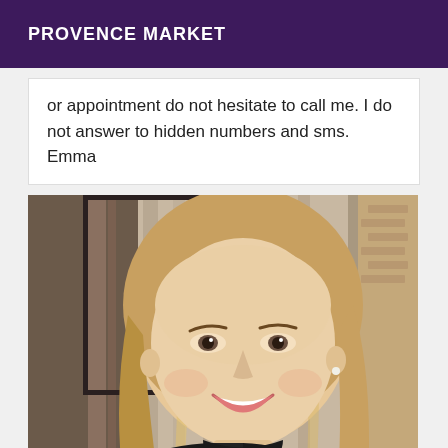PROVENCE MARKET
or appointment do not hesitate to call me. I do not answer to hidden numbers and sms. Emma
[Figure (photo): Portrait photo of a smiling blonde woman wearing a black turtleneck, with curly hair, looking at the camera. Background shows curtains and brick wall.]